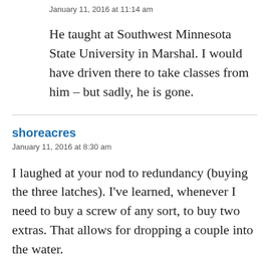January 11, 2016 at 11:14 am
He taught at Southwest Minnesota State University in Marshal. I would have driven there to take classes from him – but sadly, he is gone.
shoreacres
January 11, 2016 at 8:30 am
I laughed at your nod to redundancy (buying the three latches). I've learned, whenever I need to buy a screw of any sort, to buy two extras. That allows for dropping a couple into the water.